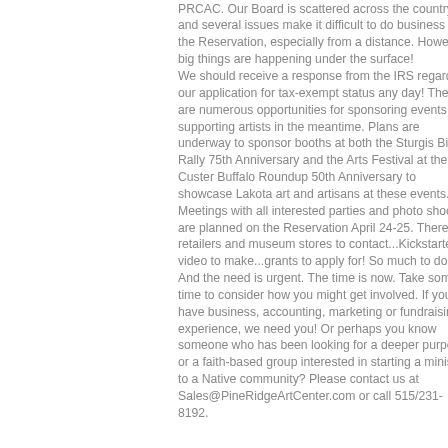PRCAC. Our Board is scattered across the country and several issues make it difficult to do business on the Reservation, especially from a distance. However, big things are happening under the surface! We should receive a response from the IRS regarding our application for tax-exempt status any day! There are numerous opportunities for sponsoring events and supporting artists in the meantime. Plans are underway to sponsor booths at both the Sturgis Bike Rally 75th Anniversary and the Arts Festival at the Custer Buffalo Roundup 50th Anniversary to showcase Lakota art and artisans at these events. Meetings with all interested parties and photo shoots are planned on the Reservation April 24-25. There are retailers and museum stores to contact...Kickstarter video to make...grants to apply for! So much to do. And the need is urgent. The time is now. Take some time to consider how you might get involved. If you have business, accounting, marketing or fundraising experience, we need you! Or perhaps you know someone who has been looking for a deeper purpose or a faith-based group interested in starting a ministry to a Native community? Please contact us at Sales@PineRidgeArtCenter.com or call 515/231-8192.